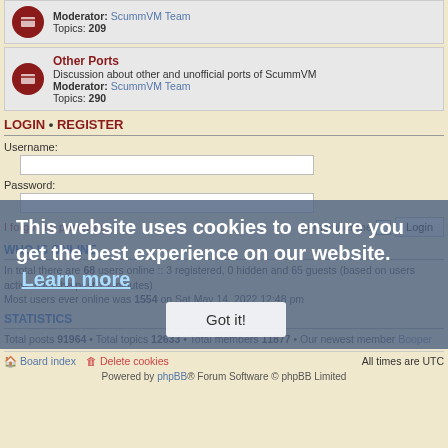Moderator: ScummVM Team
Topics: 209
Other Ports
Discussion about other and unofficial ports of ScummVM
Moderator: ScummVM Team
Topics: 290
LOGIN • REGISTER
Username:
Password:
I forgot my password    Remember me  [checkbox]  Login
WHO IS ONLINE
In total there are 68 users online :: 3 registered, 0 hidden and 65 guests (based on users active over the past 15 minutes)
Most users ever online was 1554 on Sat May 14, 2022 12:48 pm
STATISTICS
Total posts 91964 • Total topics 12633 • Total members 11877 • Our newest member Booper
Board index   Delete cookies   All times are UTC
Powered by phpBB® Forum Software © phpBB Limited
This website uses cookies to ensure you get the best experience on our website.  Learn more
Got it!